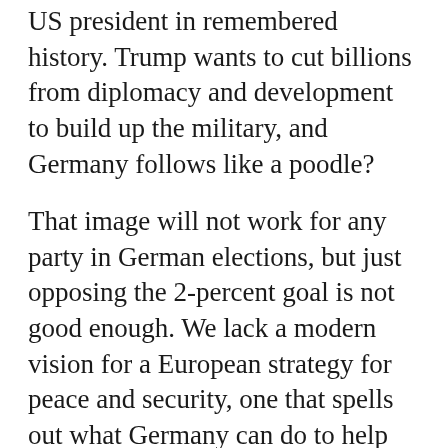US president in remembered history. Trump wants to cut billions from diplomacy and development to build up the military, and Germany follows like a poodle?
That image will not work for any party in German elections, but just opposing the 2-percent goal is not good enough. We lack a modern vision for a European strategy for peace and security, one that spells out what Germany can do to help Europe become a strategic, preventative foreign policy actor. This would be a debate worth having during this electoral season. We will not get there if some ask for huge increases in military spending while others ritualistically counter with demands for more aid.